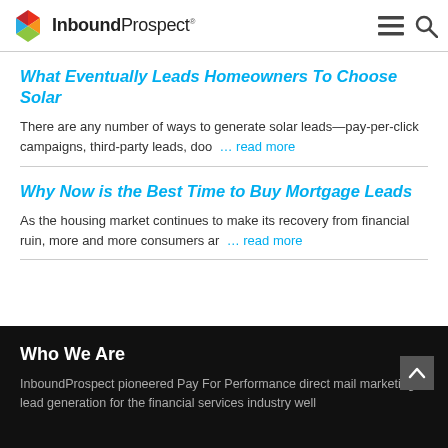InboundProspect
What Eventually Leads Homeowners To Choose Solar
There are any number of ways to generate solar leads—pay-per-click campaigns, third-party leads, doo … read more
Why Now is the Best Time to Buy Mortgage Leads
As the housing market continues to make its recovery from financial ruin, more and more consumers ar … read more
Who We Are
InboundProspect pioneered Pay For Performance direct mail marketing lead generation for the financial services industry well